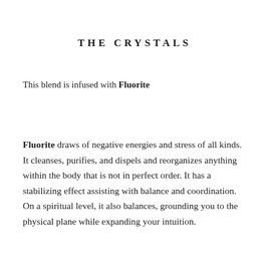THE CRYSTALS
This blend is infused with Fluorite
Fluorite draws of negative energies and stress of all kinds. It cleanses, purifies, and dispels and reorganizes anything within the body that is not in perfect order. It has a stabilizing effect assisting with balance and coordination. On a spiritual level, it also balances, grounding you to the physical plane while expanding your intuition.